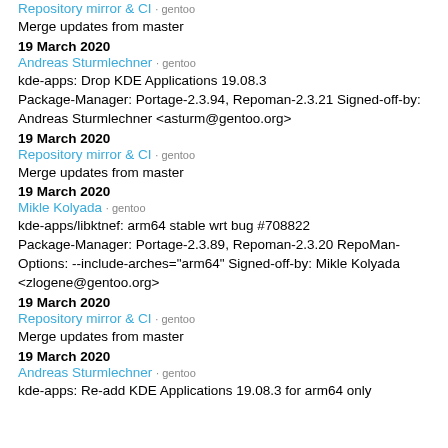Repository mirror & CI · gentoo
Merge updates from master
19 March 2020
Andreas Sturmlechner · gentoo
kde-apps: Drop KDE Applications 19.08.3 Package-Manager: Portage-2.3.94, Repoman-2.3.21 Signed-off-by: Andreas Sturmlechner <asturm@gentoo.org>
19 March 2020
Repository mirror & CI · gentoo
Merge updates from master
19 March 2020
Mikle Kolyada · gentoo
kde-apps/libktnef: arm64 stable wrt bug #708822 Package-Manager: Portage-2.3.89, Repoman-2.3.20 RepoMan-Options: --include-arches="arm64" Signed-off-by: Mikle Kolyada <zlogene@gentoo.org>
19 March 2020
Repository mirror & CI · gentoo
Merge updates from master
19 March 2020
Andreas Sturmlechner · gentoo
kde-apps: Re-add KDE Applications 19.08.3 for arm64 only